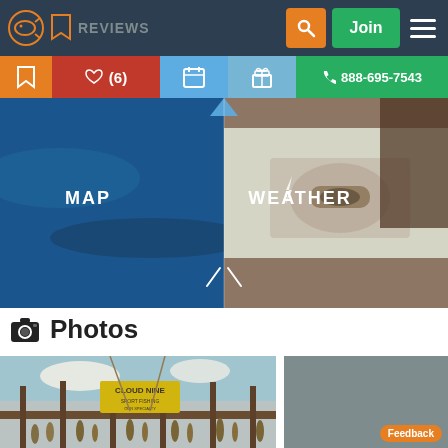REVIEWS | Join
[Figure (screenshot): Navigation bar with fish logo, bookmark icon, REVIEWS text, search button, Join button, hamburger menu]
[Figure (screenshot): Action bar with save, like (6), calendar, gift, and phone 888-695-7543 buttons]
[Figure (photo): Hero image showing a boat on ocean with MAP and WEATHER overlaid labels and navigation arrow]
Photos
[Figure (photo): Photo of Cloud Nine fishing charter sign with hanging fish at dock, vintage toned]
[Figure (photo): Photo of Cloud Nine sport fishing sign with anglers and hanging fish at dock]